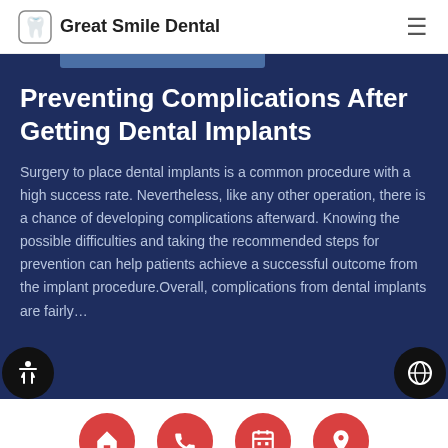Great Smile Dental
Preventing Complications After Getting Dental Implants
Surgery to place dental implants is a common procedure with a high success rate. Nevertheless, like any other operation, there is a chance of developing complications afterward. Knowing the possible difficulties and taking the recommended steps for prevention can help patients achieve a successful outcome from the implant procedure.Overall, complications from dental implants are fairly…